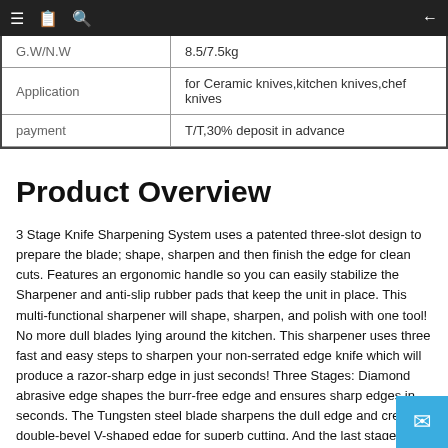≡ 📋 🔍 ←
| G.W/N.W | 8.5/7.5kg |
| Application | for Ceramic knives,kitchen knives,chef knives |
| payment | T/T,30% deposit in advance |
Product Overview
3 Stage Knife Sharpening System uses a patented three-slot design to prepare the blade; shape, sharpen and then finish the edge for clean cuts. Features an ergonomic handle so you can easily stabilize the Sharpener and anti-slip rubber pads that keep the unit in place. This multi-functional sharpener will shape, sharpen, and polish with one tool! No more dull blades lying around the kitchen. This sharpener uses three fast and easy steps to sharpen your non-serrated edge knife which will produce a razor-sharp edge in just seconds! Three Stages: Diamond abrasive edge shapes the burr-free edge and ensures sharp edges in seconds. The Tungsten steel blade sharpens the dull edge and creates double-bevel V-shaped edge for superb cutting. And the last stage is the ceramic edge which provides a final polish. This product is made for straight-edged knives. Measures 2 x 3 x 7 1/2"l. Weighs 7 oz. You don't have to sh a fortune on a professional sharpener to get your knives razor shar